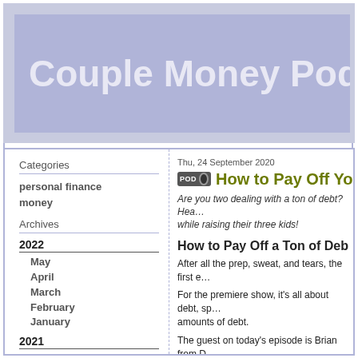Couple Money Podcast (m…
Categories
personal finance
money
Archives
2022
May
April
March
February
January
2021
December
November
October
September
July
June
May
Thu, 24 September 2020
How to Pay Off Your…
Are you two dealing with a ton of debt? Hea… while raising their three kids!
How to Pay Off a Ton of Deb…
After all the prep, sweat, and tears, the first e…
For the premiere show, it's all about debt, sp… amounts of debt.
The guest on today's episode is Brian from D… debt while raising their three kids.
In this episode, we get into:
how they accumulated their debt
what immediate steps they needed t…
how they worked as a team to pay i…
Hope you enjoy!
Resources to Become Debt Free To…